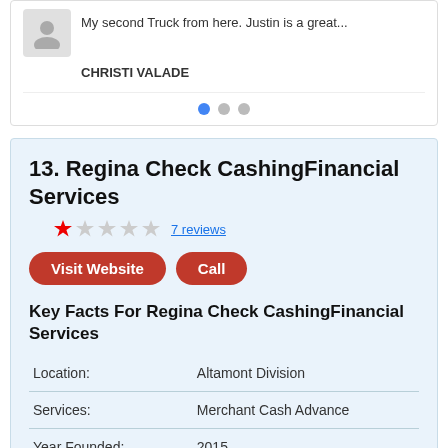My second Truck from here. Justin is a great...
CHRISTI VALADE
13. Regina Check CashingFinancial Services
1 star, 7 reviews
Visit Website | Call
Key Facts For Regina Check CashingFinancial Services
|  |  |
| --- | --- |
| Location: | Altamont Division |
| Services: | Merchant Cash Advance |
| Year Founded: | 2015 |
| Revenue: | $250,000 - $1 million |
| Fulltime Employees: | 20+ |